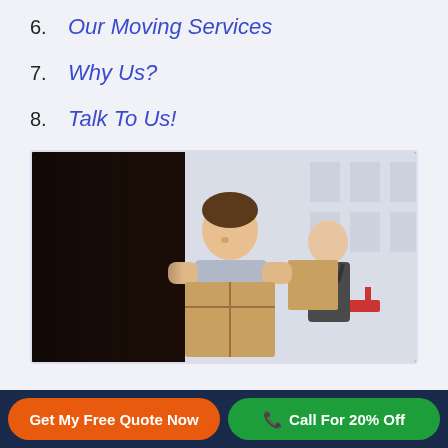6. Our Moving Services
7. Why Us?
8. Talk To Us!
[Figure (photo): Two young male movers in grey t-shirts carrying cardboard boxes outside an apartment building, smiling]
Get My Free Quote Now
Call For 20% Off